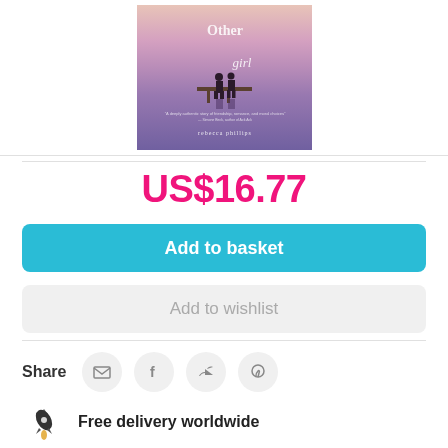[Figure (illustration): Book cover for 'Other Girl' by Rebecca Phillips, showing two silhouettes on a dock with a purple/pink sunset sky and reflection in water. The title shows partial text 'Other girl' and author name 'rebecca phillips' at the bottom.]
US$16.77
Add to basket
Add to wishlist
Share
[Figure (infographic): Rocket icon representing free delivery worldwide]
Free delivery worldwide